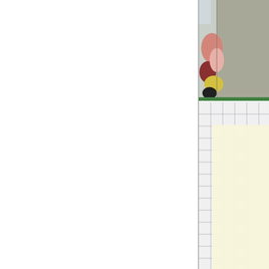[Figure (photo): Photo showing colorful paint palette or artwork on the left side with a gray/beige surface occupying most of the right portion. Appears to be a cropped photo showing art supplies near a flat gray board or paper.]
[Figure (photo): Photo showing a white grid/graph paper background with a large sheet of cream or off-white paper or fabric laid on top of it. The grid lines are visible around the edges of the cream sheet.]